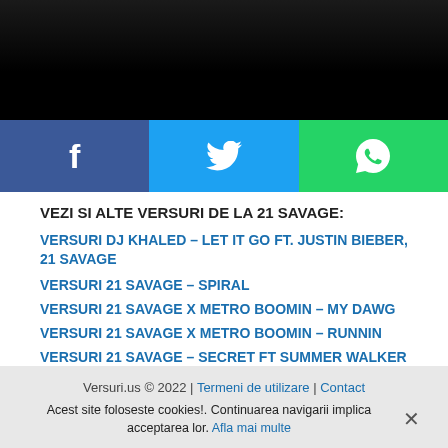[Figure (photo): Partial photo of people, mostly dark/black area at top of page]
[Figure (infographic): Social share buttons bar: Facebook (blue), Twitter (cyan), WhatsApp (green)]
VEZI SI ALTE VERSURI DE LA 21 SAVAGE:
VERSURI DJ KHALED – LET IT GO FT. JUSTIN BIEBER, 21 SAVAGE
VERSURI 21 SAVAGE – SPIRAL
VERSURI 21 SAVAGE X METRO BOOMIN – MY DAWG
VERSURI 21 SAVAGE X METRO BOOMIN – RUNNIN
VERSURI 21 SAVAGE – SECRET FT SUMMER WALKER
Versuri.us © 2022 | Termeni de utilizare | Contact
Acest site foloseste cookies!. Continuarea navigarii implica acceptarea lor. Afla mai multe